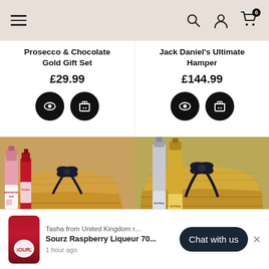Navigation header with hamburger menu, search, account, and cart icons
Prosecco & Chocolate Gold Gift Set
£29.99
Jack Daniel's Ultimate Hamper
£144.99
[Figure (photo): Left: Pink gin hamper with Beefeater Pink bottles, tonic waters, and chocolates in wicker basket with black bow. Right: Bottega gold and silver bottles with Raffaello and Ferrero Rocher chocolates in wicker basket with black bow.]
Tasha from United Kingdom r... Sourz Raspberry Liqueur 70... 1 hour ago
Chat with us